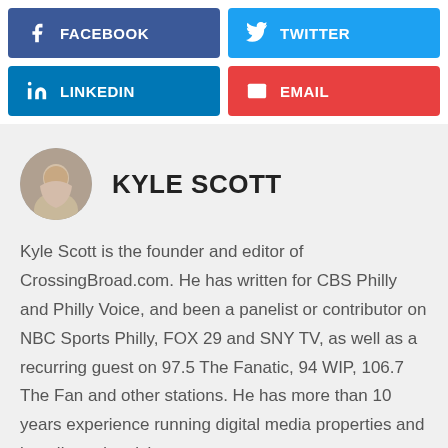[Figure (infographic): Social share buttons grid: Facebook (dark blue), Twitter (light blue), LinkedIn (medium blue), Email (red)]
KYLE SCOTT
[Figure (photo): Circular avatar photo of Kyle Scott]
Kyle Scott is the founder and editor of CrossingBroad.com. He has written for CBS Philly and Philly Voice, and been a panelist or contributor on NBC Sports Philly, FOX 29 and SNY TV, as well as a recurring guest on 97.5 The Fanatic, 94 WIP, 106.7 The Fan and other stations. He has more than 10 years experience running digital media properties and in online advertising